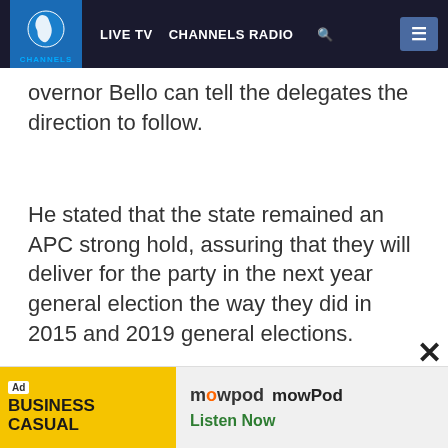LIVE TV  CHANNELS RADIO  [search]  [menu]
Governor Bello can tell the delegates the direction to follow.
He stated that the state remained an APC strong hold, assuring that they will deliver for the party in the next year general election the way they did in 2015 and 2019 general elections.
[Figure (other): Ad banner: Business Casual podcast ad with mowPod logo. Text: 'Ad', 'BUSINESS CASUAL', 'mowPod', 'mowPod', 'Listen Now']